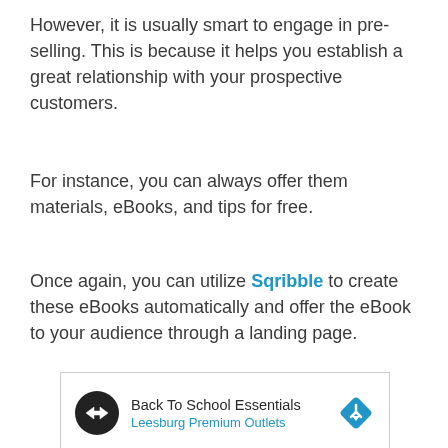However, it is usually smart to engage in pre-selling. This is because it helps you establish a great relationship with your prospective customers.
For instance, you can always offer them materials, eBooks, and tips for free.
Once again, you can utilize Sqribble to create these eBooks automatically and offer the eBook to your audience through a landing page.
[Figure (infographic): Advertisement banner for 'Back To School Essentials' from Leesburg Premium Outlets, showing a circular logo with arrows, a navigation/direction diamond icon, and ad controls (play/close buttons).]